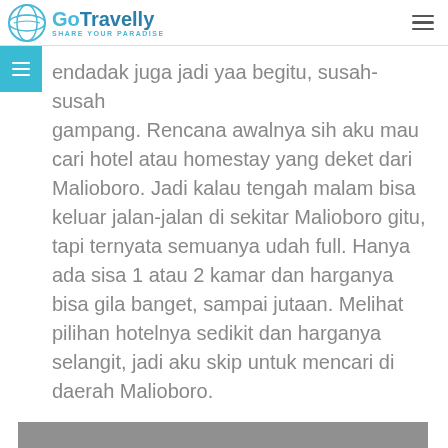GoTravelly SHARE YOUR PARADISE
endadak juga jadi yaa begitu, susah-susah gampang. Rencana awalnya sih aku mau cari hotel atau homestay yang deket dari Malioboro. Jadi kalau tengah malam bisa keluar jalan-jalan di sekitar Malioboro gitu, tapi ternyata semuanya udah full. Hanya ada sisa 1 atau 2 kamar dan harganya bisa gila banget, sampai jutaan. Melihat pilihan hotelnya sedikit dan harganya selangit, jadi aku skip untuk mencari di daerah Malioboro.
[Figure (photo): Gray placeholder image, partially visible at bottom of page]